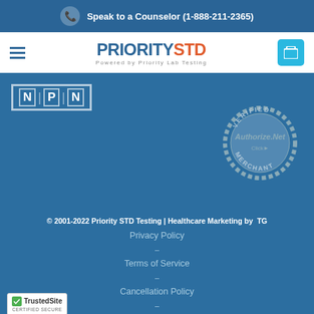Speak to a Counselor (1-888-211-2365)
[Figure (logo): PrioritySTD logo - PRIORITY in blue, STD in orange, Powered by Priority Lab Testing subtitle]
[Figure (logo): NPIN badge with letter squares N P and N]
[Figure (logo): Authorize.Net Verified Merchant seal]
© 2001-2022 Priority STD Testing | Healthcare Marketing by TG
Privacy Policy
Terms of Service
Cancellation Policy
[Figure (logo): TrustedSite Certified Secure badge]